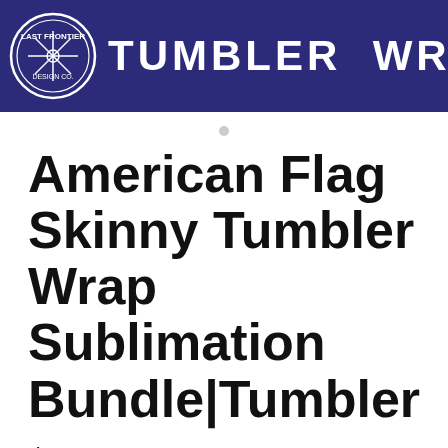[Figure (logo): Tumbler Wraps PNG banner with dark navy background, circular logo on left, bold white text 'TUMBLER WRAPS' and black PNG badge on right]
American Flag Skinny Tumbler Wrap Sublimation Bundle|Tumbler
$6.00   Designer: Last Frontier Design Co.
Purchase includes:
Zip file containing: PNG